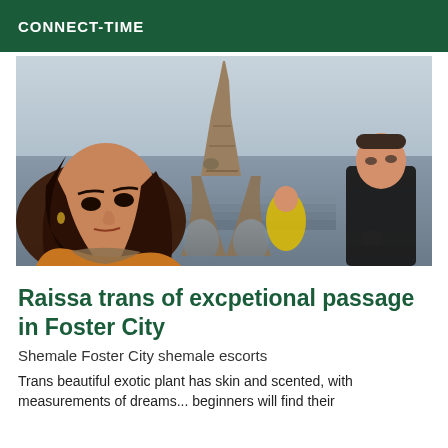CONNECT-TIME
[Figure (photo): Selfie photo of a woman with brown hair wearing a yellow/orange jacket, with the Eiffel Tower in the background. A man in a black jacket stands to the right. Cloudy sky, taken at ground level near the tower base.]
Raissa trans of excpetional passage in Foster City
Shemale Foster City shemale escorts
Trans beautiful exotic plant has skin and scented, with measurements of dreams... beginners will find their